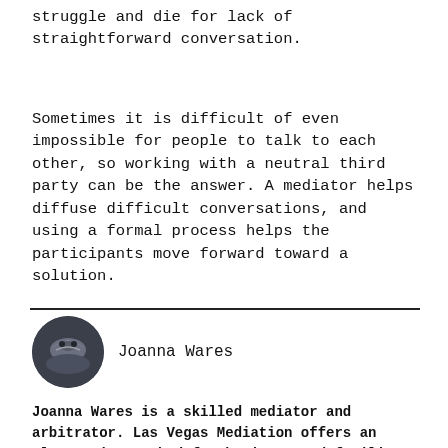struggle and die for lack of straightforward conversation.
Sometimes it is difficult of even impossible for people to talk to each other, so working with a neutral third party can be the answer. A mediator helps diffuse difficult conversations, and using a formal process helps the participants move forward toward a solution.
[Figure (photo): Circular avatar photo of Joanna Wares, dark background with a figure, next to the name 'Joanna Wares']
Joanna Wares is a skilled mediator and arbitrator. Las Vegas Mediation offers an alternative method for business and families to resolve disputes. MORE >